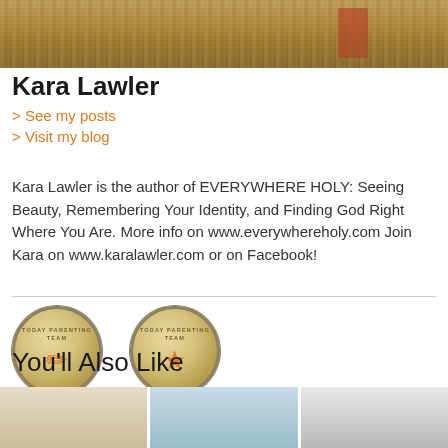[Figure (photo): Hero image of dry wheat/grain stalks in a field, with people visible in the background wearing red clothing]
Kara Lawler
> See my posts
> Visit my blog
Kara Lawler is the author of EVERYWHERE HOLY: Seeing Beauty, Remembering Your Identity, and Finding God Right Where You Are. More info on www.everywhereholy.com Join Kara on www.karalawler.com or on Facebook!
[Figure (logo): Two TODAY Parenting Team badges: 'CONTRIBUTOR' badge with pencil icon and 'TOP CONTRIBUTOR' badge with star icon, both with teal ribbons]
You'll Also Like
[Figure (photo): Three thumbnail images side by side: sandy beach scene, sky/water scene, and person with camera]